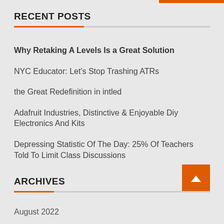RECENT POSTS
Why Retaking A Levels Is a Great Solution
NYC Educator: Let's Stop Trashing ATRs
the Great Redefinition in intled
Adafruit Industries, Distinctive & Enjoyable Diy Electronics And Kits
Depressing Statistic Of The Day: 25% Of Teachers Told To Limit Class Discussions
ARCHIVES
August 2022